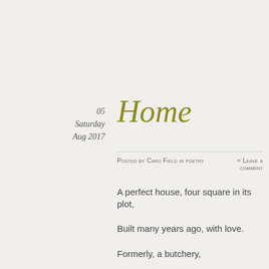05
Saturday
Aug 2017
Home
Posted by Caro Field in poetry
≈ Leave a comment
A perfect house, four square in its plot,
Built many years ago, with love.
Formerly, a butchery,
Well-known to locals, Touts, Citroen van parked
In front of it,